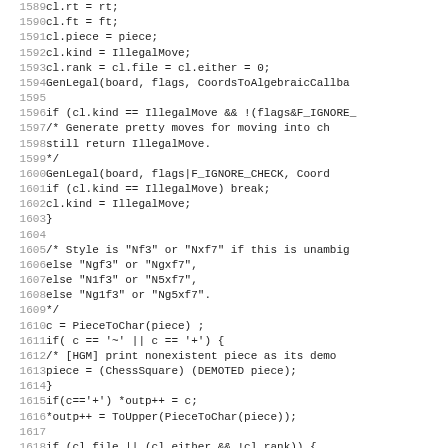Source code listing, lines 1589-1621, showing C chess move generation code